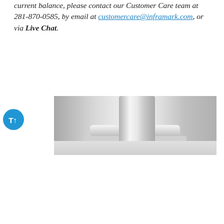current balance, please contact our Customer Care team at 281-870-0585, by email at customercare@inframark.com, or via Live Chat.
[Figure (screenshot): Screenshot of an Inframark payment portal widget showing a grayscale photo of a classical column, a dark blue 'PAY YOUR ASSOCIATION BILL' dropdown header, and options for 'CONTINUE AS GUEST' and 'LOG IN / REGISTER TO PORTAL' in blue text. Below is a partial aerial photo of a residential community with a teal Chat button.]